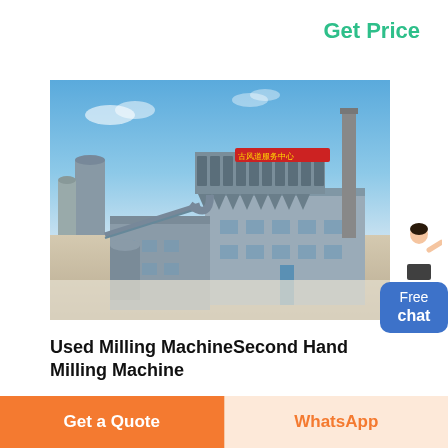Get Price
[Figure (photo): Aerial view of an industrial milling plant facility with large grey buildings, dust collection equipment, a tall chimney stack, and Chinese text signage on the roofline, set against a clear blue sky with arid terrain surroundings.]
Used Milling MachineSecond Hand Milling Machine
We are offering Used Milling Machines to our
Get a Quote
WhatsApp